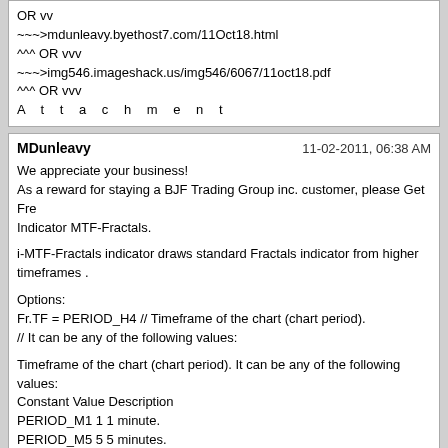OR vv
~~~>mdunleavy.byethost7.com/11Oct18.html
^^^ OR vvv
~~~>img546.imageshack.us/img546/6067/11oct18.pdf
^^^ OR vvv
A t t a c h m e n t
MDunleavy | 11-02-2011, 06:38 AM

We appreciate your business!
As a reward for staying a BJF Trading Group inc. customer, please Get Fre Indicator MTF-Fractals.

i-MTF-Fractals indicator draws standard Fractals indicator from higher timeframes .

Options:
Fr.TF = PERIOD_H4 // Timeframe of the chart (chart period).
// It can be any of the following values:

Timeframe of the chart (chart period). It can be any of the following values:
Constant Value Description
PERIOD_M1 1 1 minute.
PERIOD_M5 5 5 minutes.
PERIOD_M15 15 15 minutes.
PERIOD_M30 30 30 minutes.
PERIOD_H1 60 1 hour.
PERIOD_H4 240 4 hour.
PERIOD_D1 1440 Daily.
PERIOD_W1 10080 Weekly.
PERIOD_MN1 43200 Monthly.
0 (zero) 0 Timeframe used on the chart.
http://img851.imageshack.us/img851/1897/11nov012.png
CLICK HERE for detail information...
~~~>img716.imageshack.us/img716/5986/11nov01.pdf
^^^ OR vvv
~~~>iticsoftware.com/postimages2//11Nov01.html